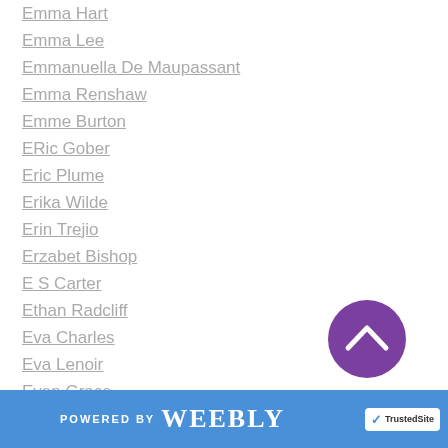Emma Hart
Emma Lee
Emmanuella De Maupassant
Emma Renshaw
Emme Burton
ERic Gober
Eric Plume
Erika Wilde
Erin Trejio
Erzabet Bishop
E S Carter
Ethan Radcliff
Eva Charles
Eva Lenoir
Evan Grace
Eve Carter
Everly Lucas
POWERED BY weebly | TrustedSite